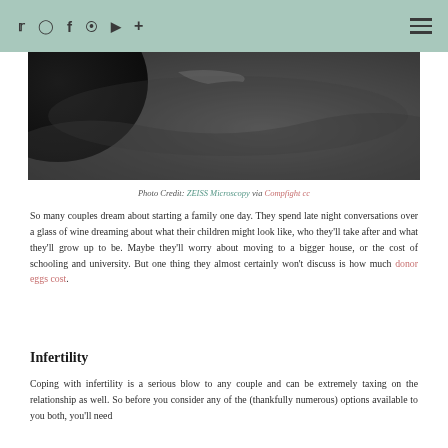Social media icons: Twitter, Instagram, Facebook, Pinterest, YouTube, Plus | Hamburger menu
[Figure (photo): Close-up dark macro photograph of what appears to be a petri dish or microscopy sample on a dark grey surface]
Photo Credit: ZEISS Microscopy via Compfight cc
So many couples dream about starting a family one day. They spend late night conversations over a glass of wine dreaming about what their children might look like, who they'll take after and what they'll grow up to be. Maybe they'll worry about moving to a bigger house, or the cost of schooling and university. But one thing they almost certainly won't discuss is how much donor eggs cost.
Infertility
Coping with infertility is a serious blow to any couple and can be extremely taxing on the relationship as well. So before you consider any of the (thankfully numerous) options available to you both, you'll need